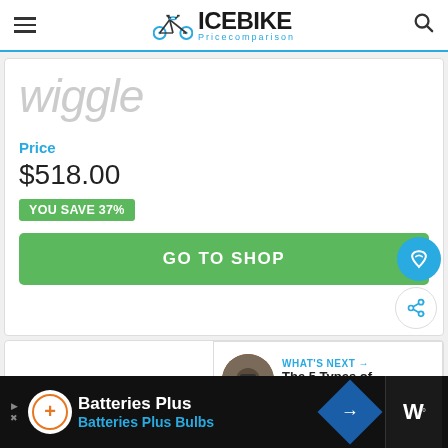ICEBIKE Pricecomparison
[Figure (logo): Wiggle retailer logo in light gray italic text]
Price
$518.00
YOU SAVE 37%
GO TO SHOP
[Figure (screenshot): What's Next section with mountain biker thumbnail and text: The 5 Types of Mountain...]
[Figure (infographic): Advertisement bar: Batteries Plus, Batteries Plus Bulbs]